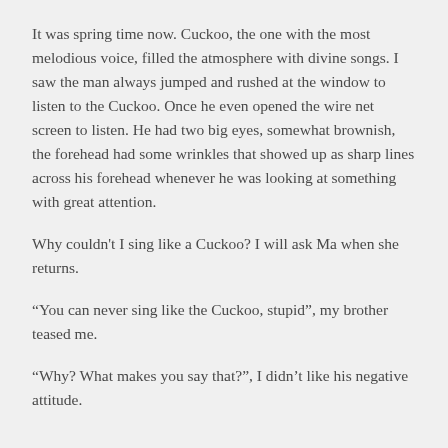It was spring time now. Cuckoo, the one with the most melodious voice, filled the atmosphere with divine songs. I saw the man always jumped and rushed at the window to listen to the Cuckoo. Once he even opened the wire net screen to listen. He had two big eyes, somewhat brownish, the forehead had some wrinkles that showed up as sharp lines across his forehead whenever he was looking at something with great attention.
Why couldn't I sing like a Cuckoo? I will ask Ma when she returns.
“You can never sing like the Cuckoo, stupid”, my brother teased me.
“Why? What makes you say that?”, I didn’t like his negative attitude.